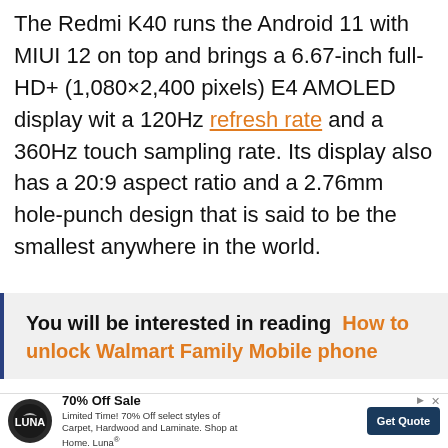The Redmi K40 runs the Android 11 with MIUI 12 on top and brings a 6.67-inch full-HD+ (1,080×2,400 pixels) E4 AMOLED display wit a 120Hz refresh rate and a 360Hz touch sampling rate. Its display also has a 20:9 aspect ratio and a 2.76mm hole-punch design that is said to be the smallest anywhere in the world.
You will be interested in reading  How to unlock Walmart Family Mobile phone
[Figure (other): Advertisement banner: LUNA flooring brand logo (circular dark icon with crescent). Text: '70% Off Sale — Limited Time! 70% Off select styles of Carpet, Hardwood and Laminate. Shop at Home. Luna®'. Button: 'Get Quote']